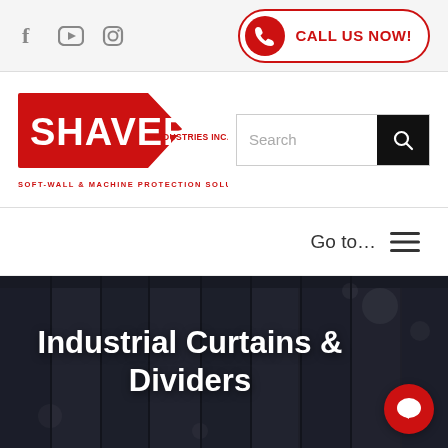[Figure (logo): Social media icons: Facebook, YouTube, Instagram]
[Figure (infographic): Red 'CALL US NOW!' button with phone icon]
[Figure (logo): Shaver Industries Inc. logo - Soft-Wall & Machine Protection Solutions]
[Figure (screenshot): Search bar with black search button]
Go to…
Industrial Curtains & Dividers